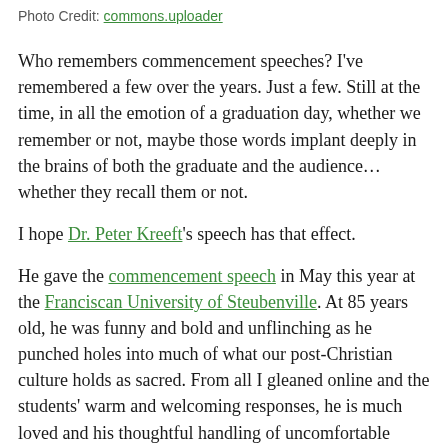Photo Credit: commons.uploader
Who remembers commencement speeches? I've remembered a few over the years. Just a few. Still at the time, in all the emotion of a graduation day, whether we remember or not, maybe those words implant deeply in the brains of both the graduate and the audience… whether they recall them or not.
I hope Dr. Peter Kreeft's speech has that effect.
He gave the commencement speech in May this year at the Franciscan University of Steubenville. At 85 years old, he was funny and bold and unflinching as he punched holes into much of what our post-Christian culture holds as sacred. From all I gleaned online and the students' warm and welcoming responses, he is much loved and his thoughtful handling of uncomfortable topics was surprising. His brief speech (just under 20 minutes) was clear and pointed.
He was asked to consider The 10 List of Sort...